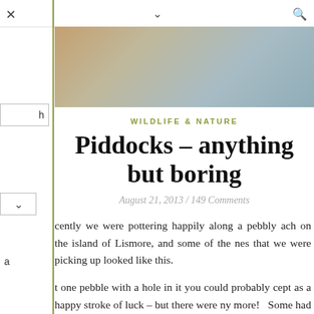< ∨ 🔍
[Figure (photo): Close-up photo of beach pebbles with warm brown and cool grey tones]
WILDLIFE & NATURE
Piddocks – anything but boring
August 21, 2013 / 149 Comments
cently we were pottering happily along a pebbly ach on the island of Lismore, and some of the nes that we were picking up looked like this.
t one pebble with a hole in it you could probably cept as a happy stroke of luck – but there were ny more!  Some had just one hole, beautifully d and smooth on the inside, just wide enough to